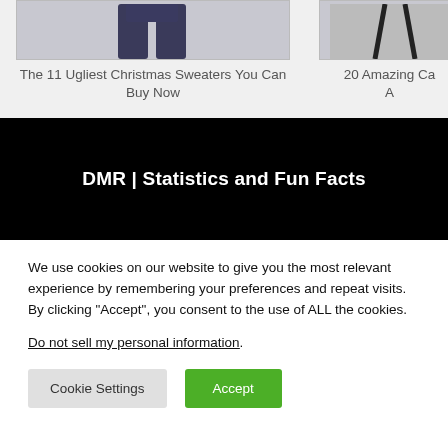[Figure (photo): Cropped image of dark jeans/pants on left card]
The 11 Ugliest Christmas Sweaters You Can Buy Now
[Figure (photo): Partially visible image on right card with dark shapes]
20 Amazing Ca A
DMR | Statistics and Fun Facts
We use cookies on our website to give you the most relevant experience by remembering your preferences and repeat visits. By clicking “Accept”, you consent to the use of ALL the cookies.
Do not sell my personal information.